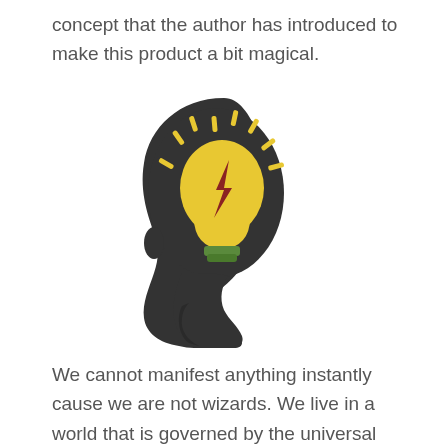concept that the author has introduced to make this product a bit magical.
[Figure (illustration): Silhouette of a human head profile (dark/charcoal color) facing left, with a glowing yellow lightbulb inside the head area. The lightbulb has a green base and a dark red lightning bolt symbol on it. Yellow dashes radiate outward from the bulb like light rays.]
We cannot manifest anything instantly cause we are not wizards. We live in a world that is governed by the universal